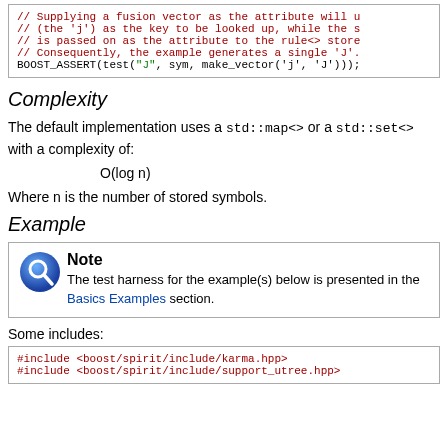[Figure (screenshot): Code snippet box showing C++ comments and BOOST_ASSERT statement with red comment lines and a string 'J' in green.]
Complexity
The default implementation uses a std::map<> or a std::set<> with a complexity of:
Where n is the number of stored symbols.
Example
Note
The test harness for the example(s) below is presented in the Basics Examples section.
Some includes:
[Figure (screenshot): Code box showing #include <boost/spirit/include/karma.hpp> and #include <boost/spirit/include/support_utree.hpp> in red monospace font.]